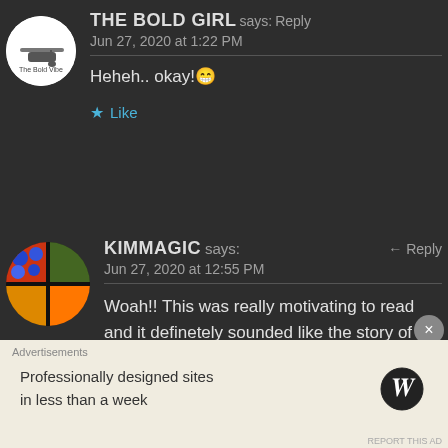THE BOLD GIRL says: Reply
Jun 27, 2020 at 1:22 PM
Heheh.. okay! 😁
★ Like
KIMMAGIC says: Reply
Jun 27, 2020 at 12:55 PM
Woah!! This was really motivating to read and it definetely sounded like the story of a bold warrior at life!! 🤩🤩 I
Advertisements
Professionally designed sites in less than a week